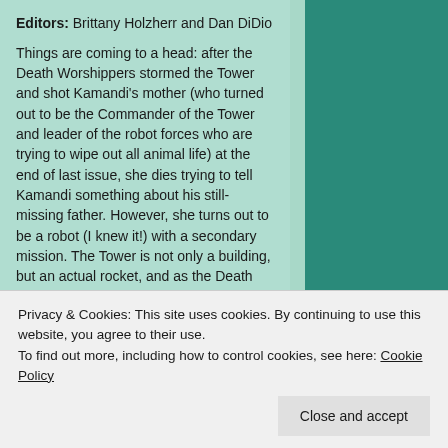Editors: Brittany Holzherr and Dan DiDio
Things are coming to a head: after the Death Worshippers stormed the Tower and shot Kamandi’s mother (who turned out to be the Commander of the Tower and leader of the robot forces who are trying to wipe out all animal life) at the end of last issue, she dies trying to tell Kamandi something about his still-missing father. However, she turns out to be a robot (I knew it!) with a secondary mission. The Tower is not only a building, but an actual rocket, and as the Death Worshippers continue to fight with the robots, the rocket launches into space, taking Kamandi to a final
Privacy & Cookies: This site uses cookies. By continuing to use this website, you agree to their use.
To find out more, including how to control cookies, see here: Cookie Policy
Close and accept
wearing jet-packs. ah, comics:).